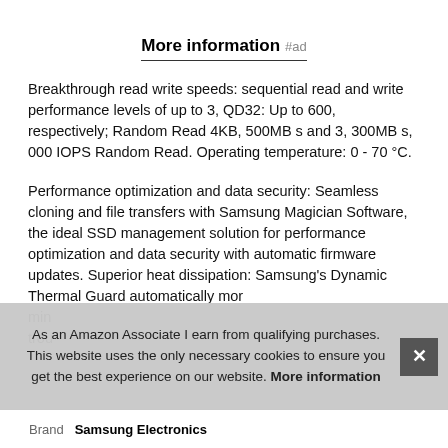More information #ad
Breakthrough read write speeds: sequential read and write performance levels of up to 3, QD32: Up to 600, respectively; Random Read 4KB, 500MB s and 3, 300MB s, 000 IOPS Random Read. Operating temperature: 0 - 70 °C.
Performance optimization and data security: Seamless cloning and file transfers with Samsung Magician Software, the ideal SSD management solution for performance optimization and data security with automatic firmware updates. Superior heat dissipation: Samsung's Dynamic Thermal Guard automatically mor... min... trou...
As an Amazon Associate I earn from qualifying purchases. This website uses the only necessary cookies to ensure you get the best experience on our website. More information
| Brand | Samsung Electronics |
| --- | --- |